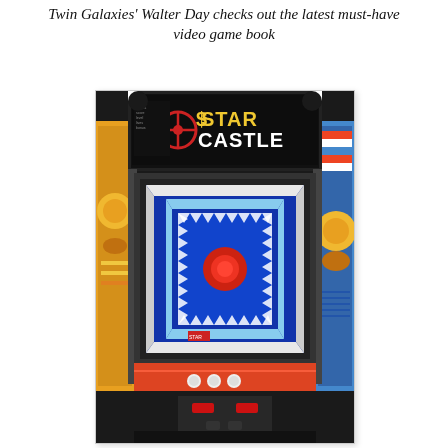Twin Galaxies' Walter Day checks out the latest must-have video game book
[Figure (photo): A Star Castle arcade cabinet machine with black marquee showing the Star Castle logo in yellow/red, the monitor displaying the game's blue and white geometric graphics with a red target center, colorful side art with orange and white designs, and coin/start buttons at the bottom.]